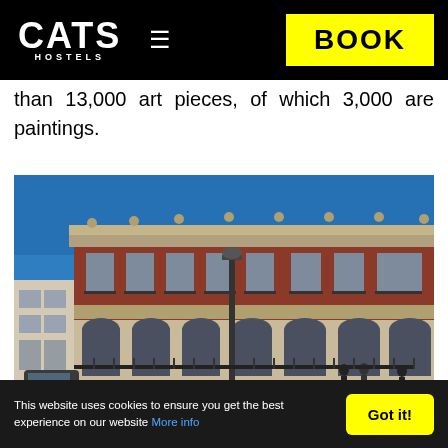CATS HOSTELS | BOOK
than 13,000 art pieces, of which 3,000 are paintings.
[Figure (photo): Exterior photograph of a large classical European museum building with red brick facade, arched windows, stone cornices, taken from street level with blue sky in background and pedestrians visible]
This website uses cookies to ensure you get the best experience on our website More info | Got it!